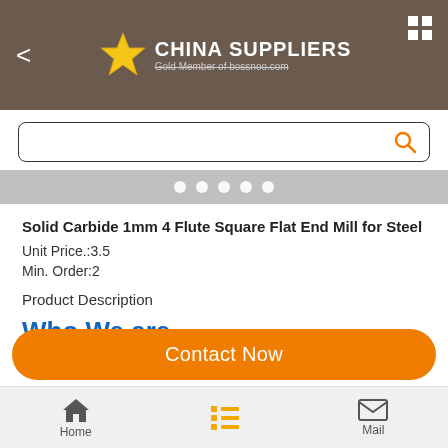CHINA SUPPLIERS Gold Member of bossnoo.com
[Figure (screenshot): Search bar with magnifying glass icon]
[Figure (other): Carousel navigation dots (5 white dots on grey background)]
Solid Carbide 1mm 4 Flute Square Flat End Mill for Steel
Unit Price.:3.5
Min. Order:2
Product Description
Who We are
Contact Now
Home   Mail